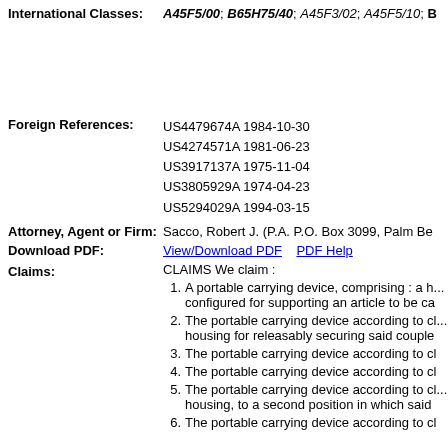International Classes: A45F5/00; B65H75/40; A45F3/02; A45F5/10; B...
Foreign References: US4479674A 1984-10-30; US4274571A 1981-06-23; US3917137A 1975-11-04; US3805929A 1974-04-23; US5294029A 1994-03-15
Attorney, Agent or Firm: Sacco, Robert J. (P.A. P.O. Box 3099, Palm Be...
Download PDF: View/Download PDF   PDF Help
Claims: CLAIMS We claim : 1. A portable carrying device, comprising : a h... configured for supporting an article to be ca... 2. The portable carrying device according to cl... housing for releasably securing said couple... 3. The portable carrying device according to cl... 4. The portable carrying device according to cl... 5. The portable carrying device according to cl... housing, to a second position in which said... 6. The portable carrying device according to cl...